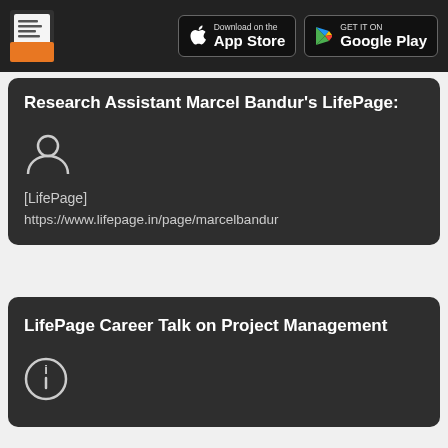LifePage | Download on the App Store | GET IT ON Google Play
Research Assistant Marcel Bandur's LifePage:
[LifePage]
https://www.lifepage.in/page/marcelbandur
LifePage Career Talk on Project Management